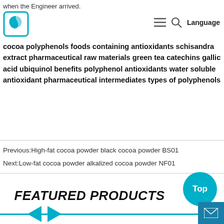when the Engineer arrived.
[Figure (logo): Teal square logo with a swirl/leaf shape inside]
cocoa polyphenols foods containing antioxidants schisandra extract pharmaceutical raw materials green tea catechins gallic acid ubiquinol benefits polyphenol antioxidants water soluble antioxidant pharmaceutical intermediates types of polyphenols
Previous:High-fat cocoa powder black cocoa powder BS01
Next:Low-fat cocoa powder alkalized cocoa powder NF01
FEATURED PRODUCTS